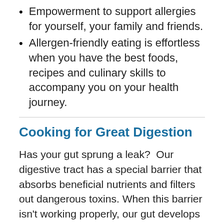Empowerment to support allergies for yourself, your family and friends.
Allergen-friendly eating is effortless when you have the best foods, recipes and culinary skills to accompany you on your health journey.
Cooking for Great Digestion
Has your gut sprung a leak?  Our digestive tract has a special barrier that absorbs beneficial nutrients and filters out dangerous toxins. When this barrier isn't working properly, our gut develops holes that allow large food particles, bacteria and toxins into our bloodstream. This is called intestinal permeability, or 'leaky gut' syndrome – and it can lead to uncomfortable digestive symptoms, fatigue, and aches and pains.